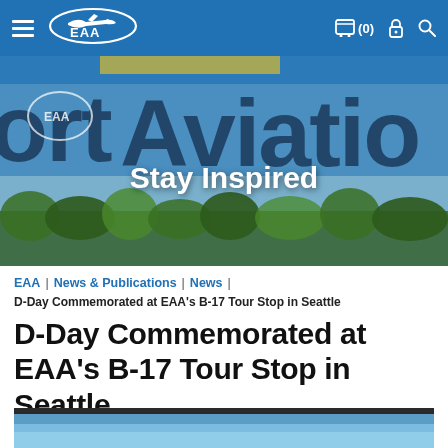EAA navigation bar with hamburger menu, EAA logo, cart (0), lock icon, search icon
[Figure (photo): Hero banner showing EAA Sport Aviation magazine cover in the background with text 'Stay Inspired' overlaid in white bold font. The background shows a partially visible magazine cover with large text reading 'ort Aviatio' and an EAA logo, with green trees and blue sky at the bottom.]
EAA | News & Publications | News |
D-Day Commemorated at EAA's B-17 Tour Stop in Seattle
D-Day Commemorated at EAA's B-17 Tour Stop in Seattle
[Figure (photo): Partial view of a photograph showing a blue sky, cropped at the bottom of the page.]